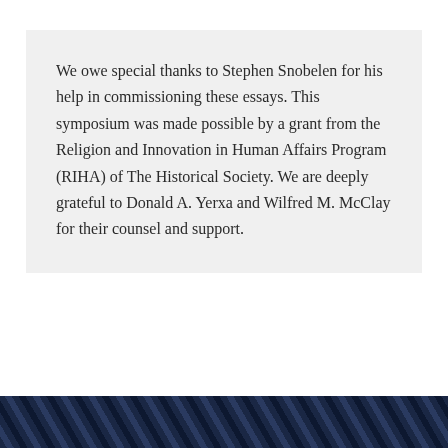We owe special thanks to Stephen Snobelen for his help in commissioning these essays. This symposium was made possible by a grant from the Religion and Innovation in Human Affairs Program (RIHA) of The Historical Society. We are deeply grateful to Donald A. Yerxa and Wilfred M. McClay for their counsel and support.
[Figure (photo): Dark navy/black patterned image at the bottom of the page, appears to be a decorative or photographic element with diagonal stripe patterns]